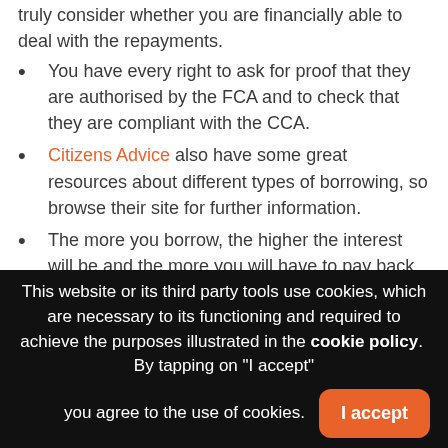truly consider whether you are financially able to deal with the repayments.
You have every right to ask for proof that they are authorised by the FCA and to check that they are compliant with the CCA.
Citizens Advice also have some great resources about different types of borrowing, so browse their site for further information.
The more you borrow, the higher the interest will be and the more you will have to pay back. It's worth evaluating the exact amount of money you need, and not
This website or its third party tools use cookies, which are necessary to its functioning and required to achieve the purposes illustrated in the cookie policy. By tapping on "I accept" you agree to the use of cookies.